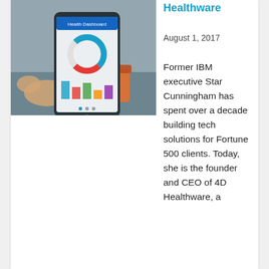[Figure (photo): Person holding a smartphone displaying a health dashboard app with charts and data visualizations]
Healthware
August 1, 2017
Former IBM executive Star Cunningham has spent over a decade building tech solutions for Fortune 500 clients. Today, she is the founder and CEO of 4D Healthware, a